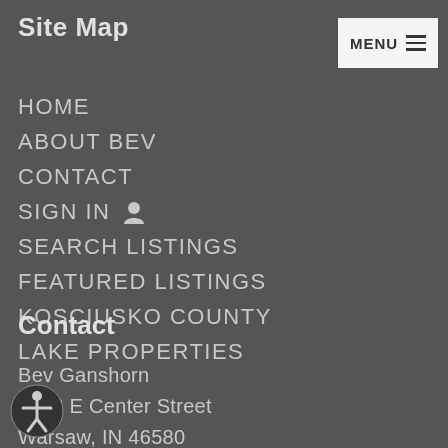Site Map
HOME
ABOUT BEV
CONTACT
SIGN IN
SEARCH LISTINGS
FEATURED LISTINGS
KOSCIUSKO COUNTY
LAKE PROPERTIES
Contact
Bev Ganshorn
3038 E Center Street
Warsaw, IN 46580